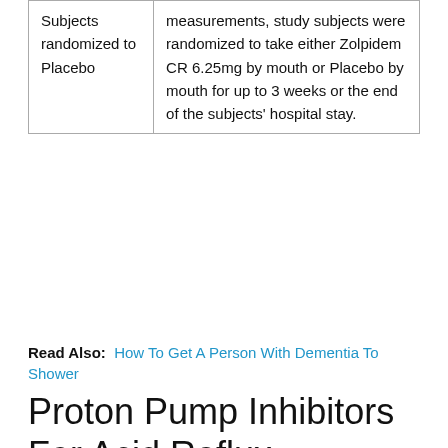| Subjects randomized to Placebo | measurements, study subjects were randomized to take either Zolpidem CR 6.25mg by mouth or Placebo by mouth for up to 3 weeks or the end of the subjects' hospital stay. |
Read Also: How To Get A Person With Dementia To Shower
Proton Pump Inhibitors For Acid Reflux
What meds are we talking about?